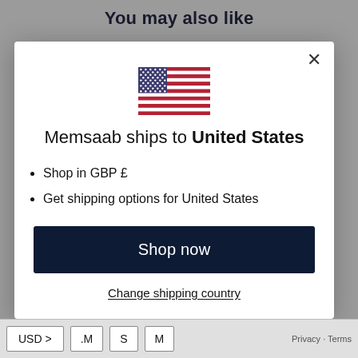You may also like
[Figure (illustration): US flag icon centered in modal]
Memsaab ships to United States
Shop in GBP £
Get shipping options for United States
Shop now
Change shipping country